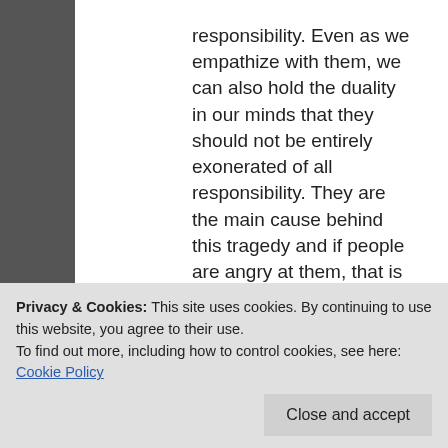responsibility. Even as we empathize with them, we can also hold the duality in our minds that they should not be entirely exonerated of all responsibility. They are the main cause behind this tragedy and if people are angry at them, that is a normal response. People shouldn't threaten this family or get violent with them, but if people on the Internet are saying stuff we should understand why they are upset. An animal died!
June 1, 2016 at 7:12 pm
Privacy & Cookies: This site uses cookies. By continuing to use this website, you agree to their use.
To find out more, including how to control cookies, see here: Cookie Policy